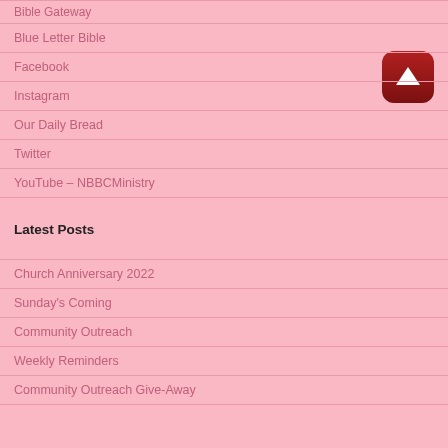Bible Gateway
Blue Letter Bible
Facebook
Instagram
Our Daily Bread
Twitter
YouTube – NBBCMinistry
Latest Posts
Church Anniversary 2022
Sunday's Coming
Community Outreach
Weekly Reminders
Community Outreach Give-Away